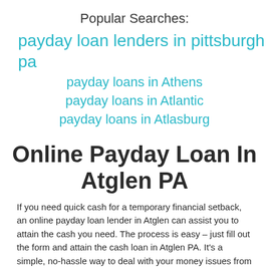Popular Searches:
payday loan lenders in pittsburgh pa
payday loans in Athens
payday loans in Atlantic
payday loans in Atlasburg
Online Payday Loan In Atglen PA
If you need quick cash for a temporary financial setback, an online payday loan lender in Atglen can assist you to attain the cash you need. The process is easy – just fill out the form and attain the cash loan in Atglen PA. It's a simple, no-hassle way to deal with your money issues from a reputable online